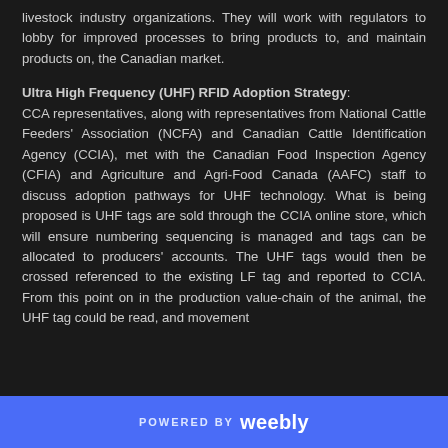livestock industry organizations. They will work with regulators to lobby for improved processes to bring products to, and maintain products on, the Canadian market.
Ultra High Frequency (UHF) RFID Adoption Strategy:
CCA representatives, along with representatives from National Cattle Feeders' Association (NCFA) and Canadian Cattle Identification Agency (CCIA), met with the Canadian Food Inspection Agency (CFIA) and Agriculture and Agri-Food Canada (AAFC) staff to discuss adoption pathways for UHF technology. What is being proposed is UHF tags are sold through the CCIA online store, which will ensure numbering sequencing is managed and tags can be allocated to producers' accounts. The UHF tags would then be crossed referenced to the existing LF tag and reported to CCIA. From this point on in the production value-chain of the animal, the UHF tag could be read, and movement
POWERED BY weebly